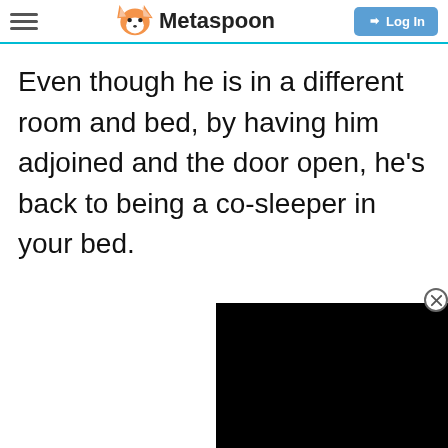Metaspoon
Even though he is in a different room and bed, by having him adjoined and the door open, he’s back to being a co-sleeper in your bed.
[Figure (screenshot): Black video/ad player rectangle in lower right corner with close (X) button]